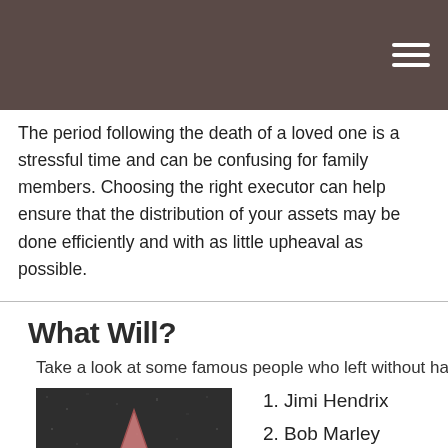The period following the death of a loved one is a stressful time and can be confusing for family members. Choosing the right executor can help ensure that the distribution of your assets may be done efficiently and with as little upheaval as possible.
What Will?
Take a look at some famous people who left without ha...
[Figure (photo): A close-up photograph of a Hollywood Walk of Fame star — a pink/red star shape inlaid in dark granite, with a small circular medallion in the center.]
1. Jimi Hendrix
2. Bob Marley
3. Sonny Bono
4. Pablo Picasso
5. Michael Jacks...